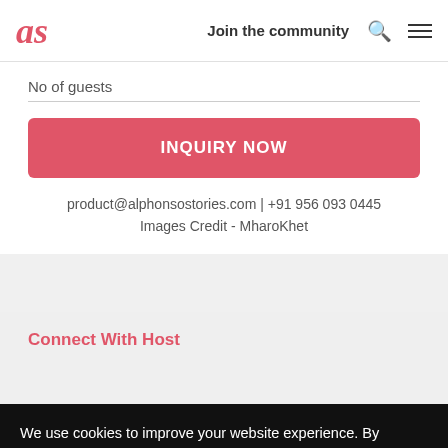as | Join the community
No of guests
INQUIRY NOW
product@alphonsostories.com | +91 956 093 0445
Images Credit - MharoKhet
Connect With Host
We use cookies to improve your website experience. By navigating our site, you agree to allow us to use cookies, in accordance with our Cookie Policy
Ok, Continue